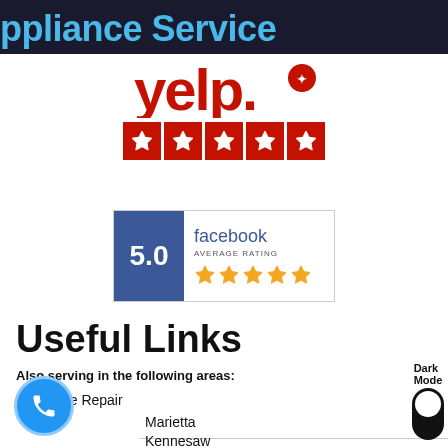ppliance Service
[Figure (logo): Yelp logo with 5 red star rating badges]
[Figure (logo): Facebook Average Rating widget showing 5.0 with 5 gold stars]
Useful Links
Also serving in the following areas:
Appliance Repair
Marietta
Kennesaw